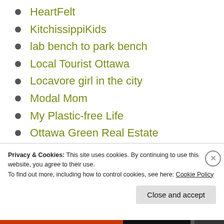HeartFelt
KitchissippiKids
lab bench to park bench
Local Tourist Ottawa
Locavore girl in the city
Modal Mom
My Plastic-free Life
Ottawa Green Real Estate
OttawaStart
Privacy & Cookies: This site uses cookies. By continuing to use this website, you agree to their use.
To find out more, including how to control cookies, see here: Cookie Policy
Close and accept